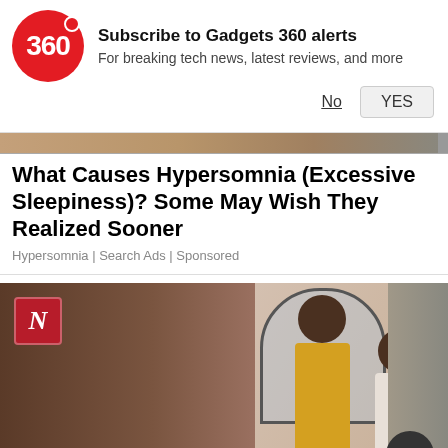[Figure (screenshot): Gadgets 360 push notification prompt with red circular logo showing '360', bold headline 'Subscribe to Gadgets 360 alerts', subtext 'For breaking tech news, latest reviews, and more', and two buttons: 'No' (underlined) and 'YES' (grey button)]
[Figure (photo): A partial image strip at the top of an article showing an indoor scene, faded/cropped]
What Causes Hypersomnia (Excessive Sleepiness)? Some May Wish They Realized Sooner
Hypersomnia | Search Ads | Sponsored
[Figure (screenshot): Video thumbnail showing people in an indoor setting — a tall man in a yellow vest and white shirt dancing/moving, another person in white kurta in front; a dark red 'N' logo overlay in top-left corner; a circular scroll-up arrow button in bottom-right corner. Background is brownish/terracotta on the sides and shows a room with large windows and spectators.]